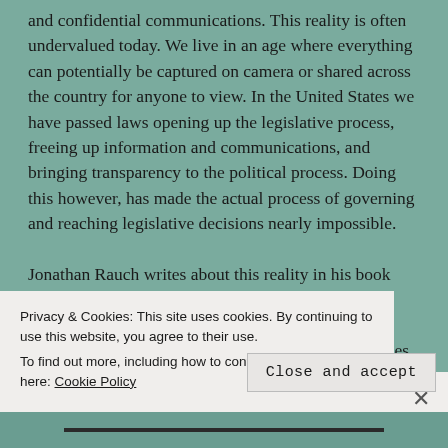and confidential communications. This reality is often undervalued today. We live in an age where everything can potentially be captured on camera or shared across the country for anyone to view. In the United States we have passed laws opening up the legislative process, freeing up information and communications, and bringing transparency to the political process. Doing this however, has made the actual process of governing and reaching legislative decisions nearly impossible.

Jonathan Rauch writes about this reality in his book Political Realism and he argues that there are some things in government that have bad optics, but are necessary for a functioning political system. He writes
Privacy & Cookies: This site uses cookies. By continuing to use this website, you agree to their use.
To find out more, including how to control cookies, see here: Cookie Policy
Close and accept